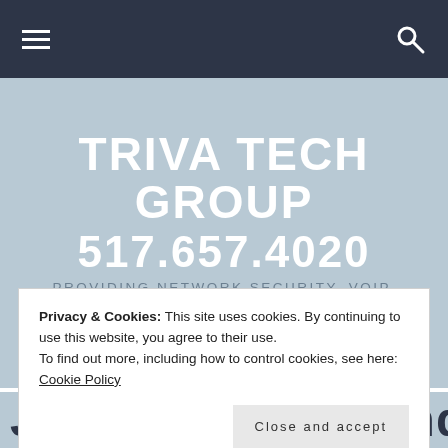☰  🔍
TRIVA TECH GROUP
517.657.4020
PROVIDING NETWORK SECURITY, VOIP, CLOUD SERVICES, CONNECTIVITY AND MARKETING SUPPORT FOR BUSINESS
Privacy & Cookies: This site uses cookies. By continuing to use this website, you agree to their use.
To find out more, including how to control cookies, see here: Cookie Policy
Close and accept
James Dimmer and